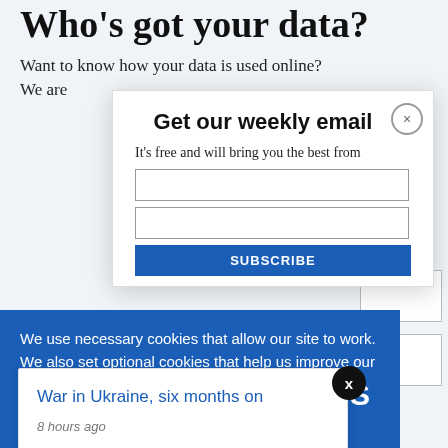Who's got your data?
Want to know how your data is used online?
We are
[Figure (screenshot): Email newsletter signup modal overlay with title 'Get our weekly email', close button (x), and text 'It’s free and will bring you the best from']
We use necessary cookies that allow our site to work. We also set optional cookies that help us improve our website. For more information about the types of cookies we use. READ OUR COOKIES POLICY HERE
COOKIE
ALLOW
S
data.
War in Ukraine, six months on
8 hours ago